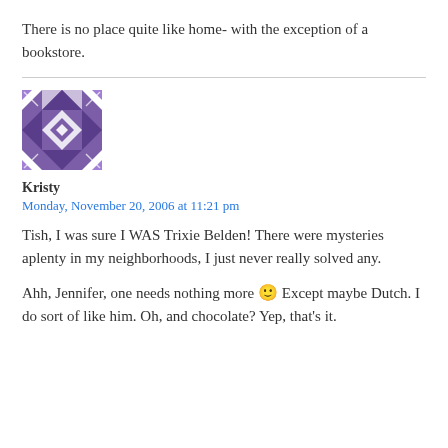There is no place quite like home- with the exception of a bookstore.
[Figure (illustration): Purple and white geometric quilt-pattern avatar image]
Kristy
Monday, November 20, 2006 at 11:21 pm
Tish, I was sure I WAS Trixie Belden! There were mysteries aplenty in my neighborhoods, I just never really solved any.
Ahh, Jennifer, one needs nothing more 🙂 Except maybe Dutch. I do sort of like him. Oh, and chocolate? Yep, that's it.